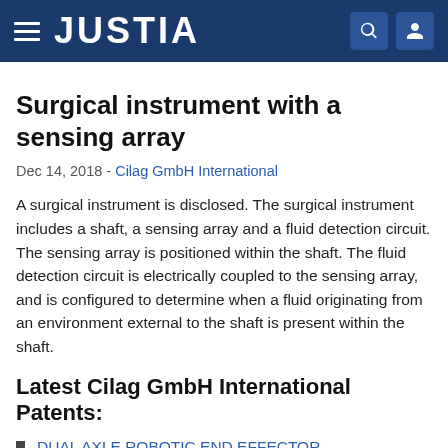JUSTIA
Surgical instrument with a sensing array
Dec 14, 2018 - Cilag GmbH International
A surgical instrument is disclosed. The surgical instrument includes a shaft, a sensing array and a fluid detection circuit. The sensing array is positioned within the shaft. The fluid detection circuit is electrically coupled to the sensing array, and is configured to determine when a fluid originating from an environment external to the shaft is present within the shaft.
Latest Cilag GmbH International Patents:
DUAL AXLE ROBOTIC END EFFECTOR
Ultrasonic surgical instrument with blade cleaning feature